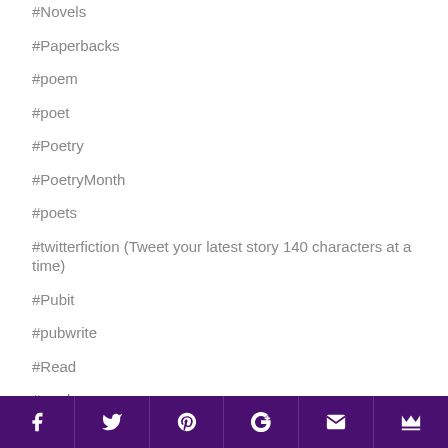#Novels
#Paperbacks
#poem
#poet
#Poetry
#PoetryMonth
#poets
#twitterfiction (Tweet your latest story 140 characters at a time)
#Pubit
#pubwrite
#Read
#reader
#Reader
Facebook Twitter Pinterest Google+ Email Crown